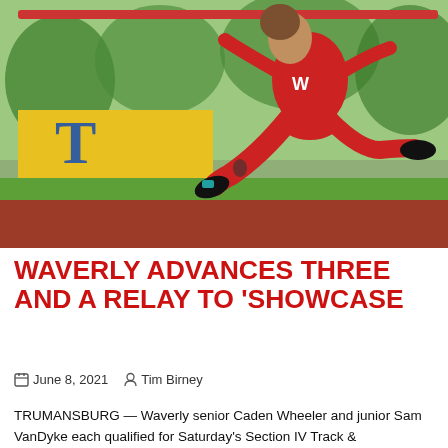[Figure (photo): A Waverly athlete in a red uniform performing a high jump over a bar, with a yellow banner with a blue 'T' in the background at a track and field event in Trumansburg.]
WAVERLY ADVANCES THREE AND A RELAY TO 'SHOWCASE
June 8, 2021   Tim Birney
TRUMANSBURG — Waverly senior Caden Wheeler and junior Sam VanDyke each qualified for Saturday's Section IV Track &